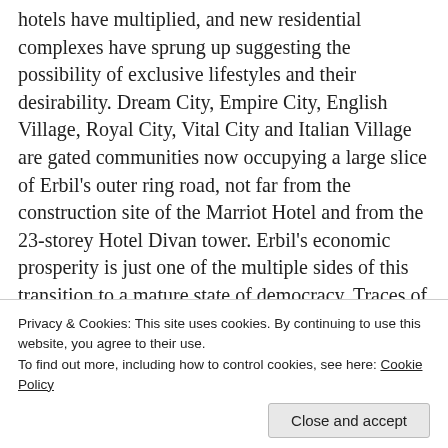hotels have multiplied, and new residential complexes have sprung up suggesting the possibility of exclusive lifestyles and their desirability. Dream City, Empire City, English Village, Royal City, Vital City and Italian Village are gated communities now occupying a large slice of Erbil's outer ring road, not far from the construction site of the Marriot Hotel and from the 23-storey Hotel Divan tower. Erbil's economic prosperity is just one of the multiple sides of this transition to a mature state of democracy. Traces of years of conflict—and the fact that virtually all investment has been confined to the growth of this capital city—are on the other hand dramatically evident in the rest of the region. Contrasting the enthusiasm of this new prosperity are the mountain villages and refugee camps where resilience and the art of making ends meet
Privacy & Cookies: This site uses cookies. By continuing to use this website, you agree to their use.
To find out more, including how to control cookies, see here: Cookie Policy
Close and accept